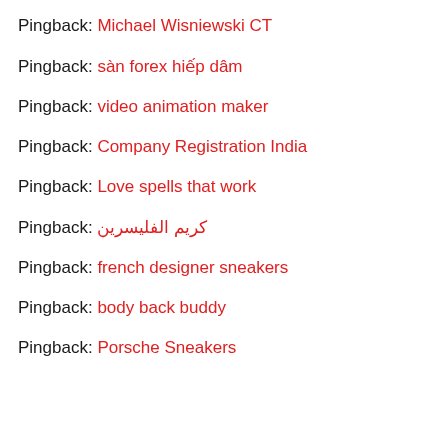Pingback: Michael Wisniewski CT
Pingback: sàn forex hiếp dâm
Pingback: video animation maker
Pingback: Company Registration India
Pingback: Love spells that work
Pingback: كريم الفليسرين
Pingback: french designer sneakers
Pingback: body back buddy
Pingback: Porsche Sneakers